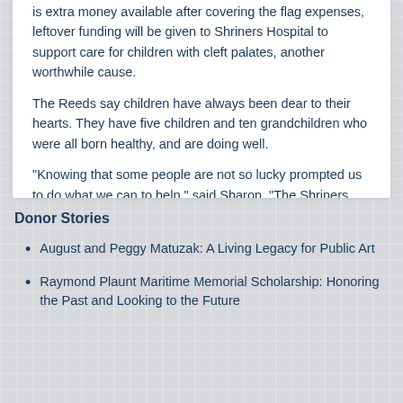is extra money available after covering the flag expenses, leftover funding will be given to Shriners Hospital to support care for children with cleft palates, another worthwhile cause.
The Reeds say children have always been dear to their hearts. They have five children and ten grandchildren who were all born healthy, and are doing well.
“Knowing that some people are not so lucky prompted us to do what we can to help,” said Sharon. “The Shriners Hospital is doing a lot to help those families.”
#####
*Glen Reed passed away in June 2020.
Donor Stories
August and Peggy Matuzak: A Living Legacy for Public Art
Raymond Plaunt Maritime Memorial Scholarship: Honoring the Past and Looking to the Future